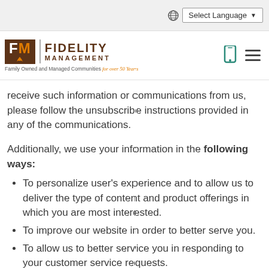Select Language
[Figure (logo): FM Fidelity Management logo with tagline 'Family Owned and Managed Communities for over 50 Years']
receive such information or communications from us, please follow the unsubscribe instructions provided in any of the communications.
Additionally, we use your information in the following ways:
To personalize user's experience and to allow us to deliver the type of content and product offerings in which you are most interested.
To improve our website in order to better serve you.
To allow us to better service you in responding to your customer service requests.